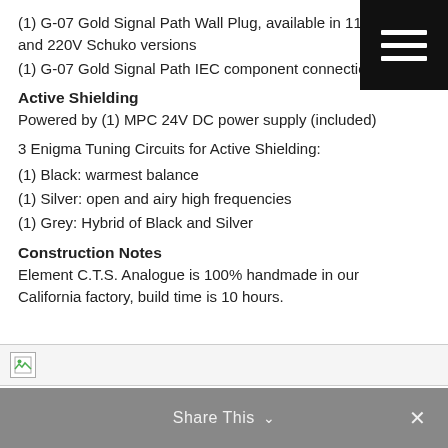(1) G-07 Gold Signal Path Wall Plug, available in 110V and 220V Schuko versions
(1) G-07 Gold Signal Path IEC component connection
Active Shielding
Powered by (1) MPC 24V DC power supply (included)
3 Enigma Tuning Circuits for Active Shielding:
(1) Black: warmest balance
(1) Silver: open and airy high frequencies
(1) Grey: Hybrid of Black and Silver
Construction Notes
Element C.T.S. Analogue is 100% handmade in our California factory, build time is 10 hours.
[Figure (other): Broken image placeholder at bottom of content area]
Share This ∨  ×